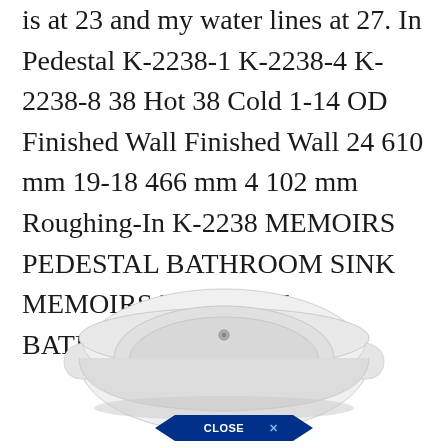is at 23 and my water lines at 27. In Pedestal K-2238-1 K-2238-4 K-2238-8 38 Hot 38 Cold 1-14 OD Finished Wall Finished Wall 24 610 mm 19-18 466 mm 4 102 mm Roughing-In K-2238 MEMOIRS PEDESTAL BATHROOM SINK MEMOIRS PEDESTAL BATHROOM SINK.
[Figure (photo): White pedestal bathroom sink basin viewed from above at an angle, with a single faucet hole in the center. A 'CLOSE X' button overlay appears at the bottom of the image.]